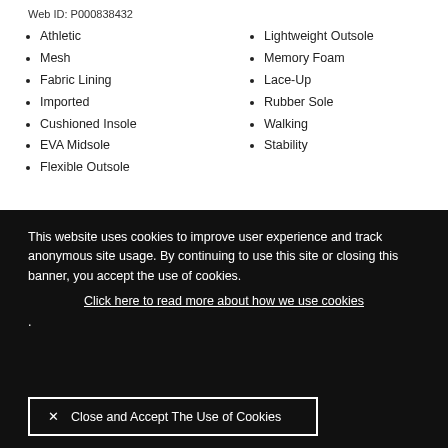Web ID: P000838432
Athletic
Mesh
Fabric Lining
Imported
Cushioned Insole
EVA Midsole
Flexible Outsole
Lightweight Outsole
Memory Foam
Lace-Up
Rubber Sole
Walking
Stability
This website uses cookies to improve user experience and track anonymous site usage. By continuing to use this site or closing this banner, you accept the use of cookies. Click here to read more about how we use cookies . ✕ Close and Accept The Use of Cookies